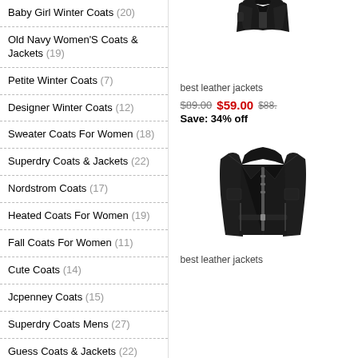Baby Girl Winter Coats (20)
Old Navy Women'S Coats & Jackets (19)
Petite Winter Coats (7)
Designer Winter Coats (12)
Sweater Coats For Women (18)
Superdry Coats & Jackets (22)
Nordstrom Coats (17)
Heated Coats For Women (19)
Fall Coats For Women (11)
Cute Coats (14)
Jcpenney Coats (15)
Superdry Coats Mens (27)
Guess Coats & Jackets (22)
Junior Coats (19)
Bernardo Coats (19)
[Figure (photo): Black leather jacket product photo, cropped at top]
best leather jackets
$89.00  $59.00  $88.
Save: 34% off
[Figure (photo): Black leather biker jacket product photo]
best leather jackets